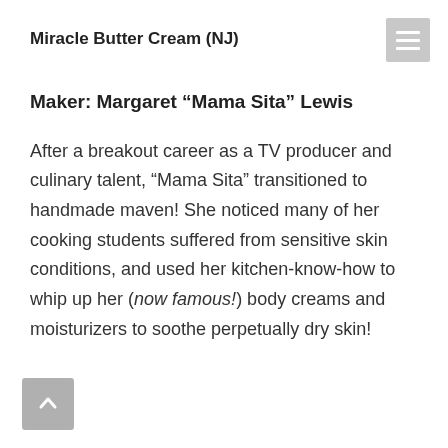Miracle Butter Cream (NJ)
Maker: Margaret “Mama Sita” Lewis
After a breakout career as a TV producer and culinary talent, “Mama Sita” transitioned to handmade maven! She noticed many of her cooking students suffered from sensitive skin conditions, and used her kitchen-know-how to whip up her (now famous!) body creams and moisturizers to soothe perpetually dry skin!